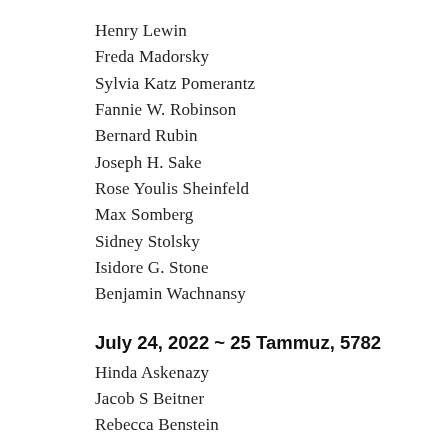Henry Lewin
Freda Madorsky
Sylvia Katz Pomerantz
Fannie W. Robinson
Bernard Rubin
Joseph H. Sake
Rose Youlis Sheinfeld
Max Somberg
Sidney Stolsky
Isidore G. Stone
Benjamin Wachnansy
July 24, 2022 ~ 25 Tammuz, 5782
Hinda Askenazy
Jacob S Beitner
Rebecca Benstein